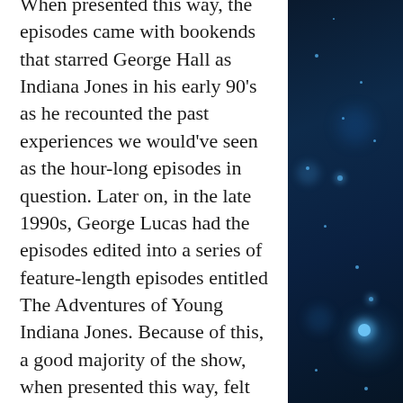When presented this way, the episodes came with bookends that starred George Hall as Indiana Jones in his early 90's as he recounted the past experiences we would've seen as the hour-long episodes in question. Later on, in the late 1990s, George Lucas had the episodes edited into a series of feature-length episodes entitled The Adventures of Young Indiana Jones. Because of this, a good majority of the show, when presented this way, felt more like two hour-long episodes stitched together. And for the record, that does include episodes that never even made it on the air. Some of them blended together quite seamlessly, while others absolutely